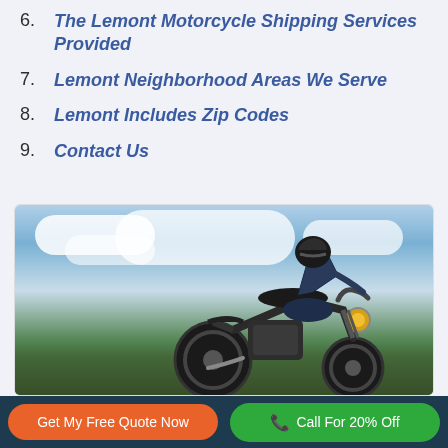6. The Lemont Motorcycle Shipping Services Provided
7. Lemont Neighborhood Areas We Serve
8. Lemont Includes Zip Codes
9. Contact Us
[Figure (photo): A motorcycle rider on a bobber-style motorcycle, viewed from a low front angle against a dramatic cloudy sky, riding along a road with green landscape.]
Get My Free Quote Now | Call For 20% Off